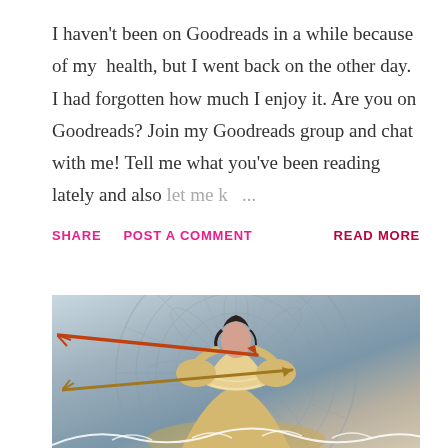I haven't been on Goodreads in a while because of my health, but I went back on the other day. I had forgotten how much I enjoy it. Are you on Goodreads? Join my Goodreads group and chat with me! Tell me what you've been reading lately and also let me k…
SHARE   POST A COMMENT   READ MORE
[Figure (photo): Book cover image showing a young woman in a cream/gold lace Victorian-style ballgown with puff sleeves, dark hair up, set against a misty blue-grey background with a circular mandala/compass rose pattern. Two arrows cross diagonally in front of her. White decorative scroll/filigree design at the bottom.]